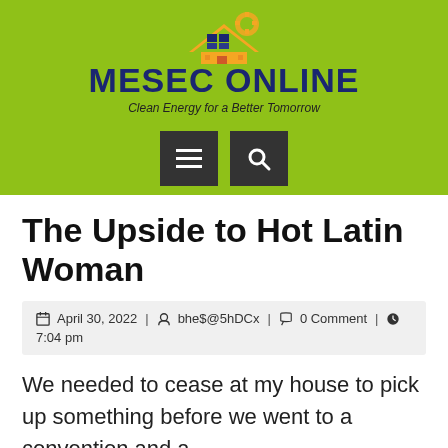[Figure (logo): MESEC ONLINE logo with solar panel and house icon on green background, tagline: Clean Energy for a Better Tomorrow]
The Upside to Hot Latin Woman
April 30, 2022 | bhe$@5hDCx | 0 Comment | 7:04 pm
We needed to cease at my house to pick up something before we went to a convention and a